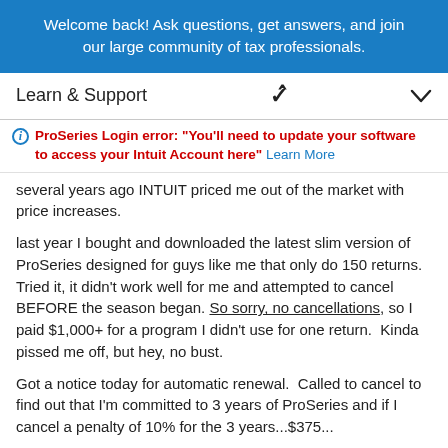Welcome back! Ask questions, get answers, and join our large community of tax professionals.
Learn & Support
ProSeries Login error: "You'll need to update your software to access your Intuit Account here" Learn More
several years ago INTUIT priced me out of the market with price increases.

last year I bought and downloaded the latest slim version of ProSeries designed for guys like me that only do 150 returns. Tried it, it didn't work well for me and attempted to cancel BEFORE the season began. So sorry, no cancellations, so I paid $1,000+ for a program I didn't use for one return. Kinda pissed me off, but hey, no bust.

Got a notice today for automatic renewal. Called to cancel to find out that I'm committed to 3 years of ProSeries and if I cancel a penalty of 10% for the 3 years...$375...